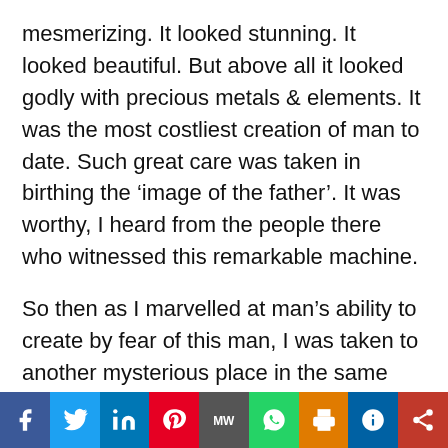mesmerizing. It looked stunning. It looked beautiful. But above all it looked godly with precious metals & elements. It was the most costliest creation of man to date. Such great care was taken in birthing the ‘image of the father’. It was worthy, I heard from the people there who witnessed this remarkable machine.
So then as I marvelled at man’s ability to create by fear of this man, I was taken to another mysterious place in the same facility where I saw the creation of the head of this ‘image of the father’. It was being prepared by only three people. Actually when I saw these 3 people close, they weren’t people at all, they were not of earth, they were aliens, as they were small in size compared to
[Figure (infographic): Social media sharing bar with icons: Facebook (blue), Twitter (light blue), LinkedIn (dark blue), Pinterest (red), MeWe (dark grey), WhatsApp (green), Print (orange), Parler (blue), Share (dark red)]